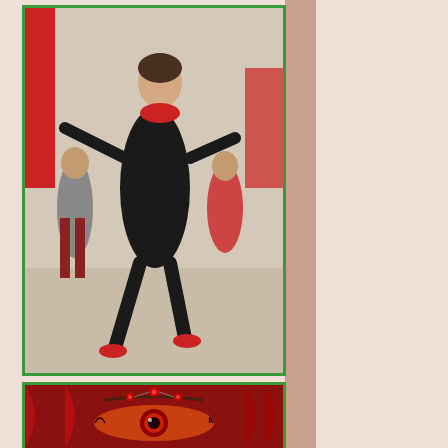[Figure (photo): People dancing in a group in what appears to be a shopping mall or indoor venue. The lead dancer is a woman in black with a red scarf, smiling and dancing energetically.]
[Figure (photo): Close-up illustration or photo of a stylized female eye with dramatic makeup, red tones, and jeweled decoration on the forehead.]
[Figure (photo): Black rectangle, possibly a video placeholder.]
Article acco...
"Rabbi Abra...
YOU CANNOT STOP the human mind from...